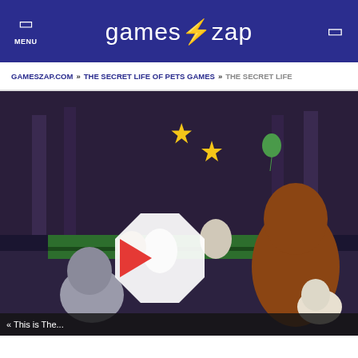MENU | games⚡zap
GAMESZAP.COM » THE SECRET LIFE OF PETS GAMES » THE SECRET LIFE
[Figure (screenshot): Screenshot from The Secret Life of Pets animated movie showing various pet characters in what appears to be a large indoor gathering space. A large white octagonal play button with a red triangle is overlaid at the center.]
« This is The...